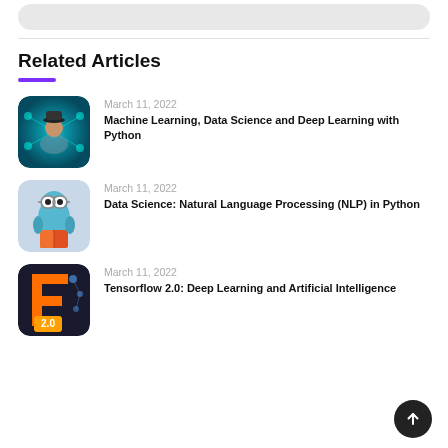[Figure (other): Search bar UI element at top of page]
Related Articles
[Figure (photo): Thumbnail image of a person with neural network background for Machine Learning article]
March 11, 2022
Machine Learning, Data Science and Deep Learning with Python
[Figure (illustration): Thumbnail image of a cartoon robot/alien reading a book for NLP article]
March 11, 2022
Data Science: Natural Language Processing (NLP) in Python
[Figure (illustration): Thumbnail image of TensorFlow logo with 2.0 badge]
March 11, 2022
Tensorflow 2.0: Deep Learning and Artificial Intelligence